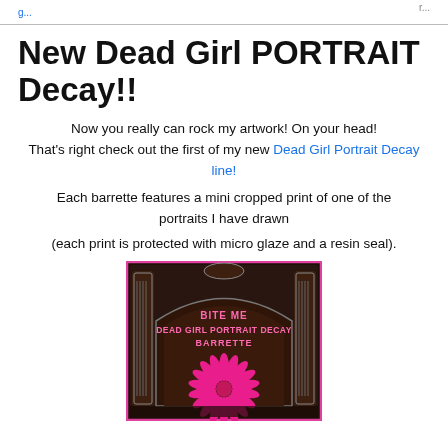Dead Girl Portrait Decay line!
New Dead Girl PORTRAIT Decay!!
Now you really can rock my artwork! On your head! That's right check out the first of my new Dead Girl Portrait Decay line!
Each barrette features a mini cropped print of one of the portraits I have drawn
(each print is protected with micro glaze and a resin seal).
[Figure (photo): Photo of a Dead Girl Portrait Decay barrette with pink flower and dark ornate frame, text reads 'BITE ME DEAD GIRL PORTRAIT DECAY BARRETTE']